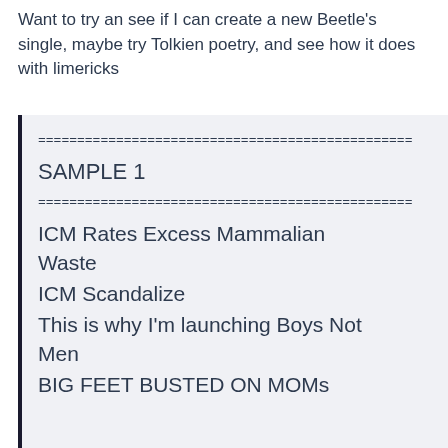Want to try an see if I can create a new Beetle's single, maybe try Tolkien poetry, and see how it does with limericks
=====================================
SAMPLE 1
=====================================
ICM Rates Excess Mammalian Waste
ICM Scandalize
This is why I'm launching Boys Not Men
BIG FEET BUSTED ON MOs